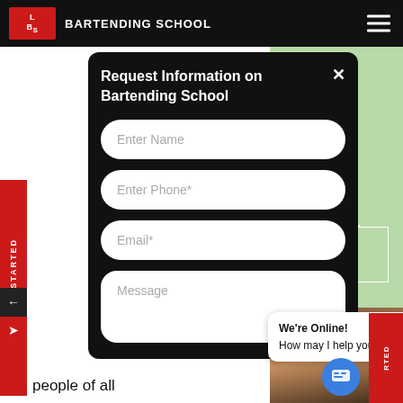LBS BARTENDING SCHOOL
Request Information on Bartending School
Enter Name
Enter Phone*
Email*
Message
[Figure (screenshot): Map background showing green terrain with labels: Distribution and 6068, Chicken House]
[Figure (photo): Photo of a young man, bartender, partial face visible]
people of all
We're Online! How may I help you today?